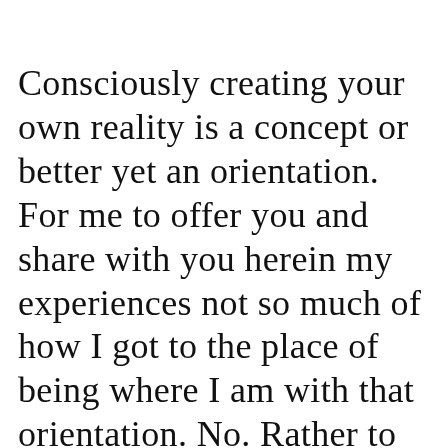Consciously creating your own reality is a concept or better yet an orientation. For me to offer you and share with you herein my experiences not so much of how I got to the place of being where I am with that orientation. No. Rather to make this about what can I impart, what can I deliver to you, what can I give